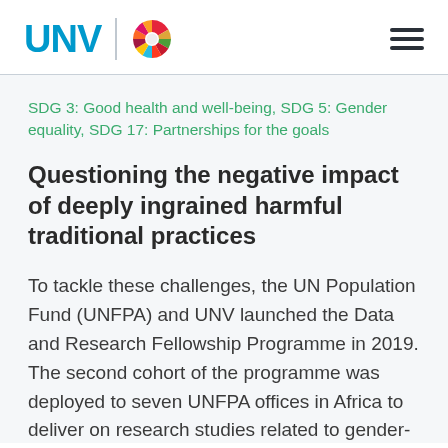UNV
SDG 3: Good health and well-being, SDG 5: Gender equality, SDG 17: Partnerships for the goals
Questioning the negative impact of deeply ingrained harmful traditional practices
To tackle these challenges, the UN Population Fund (UNFPA) and UNV launched the Data and Research Fellowship Programme in 2019. The second cohort of the programme was deployed to seven UNFPA offices in Africa to deliver on research studies related to gender-based